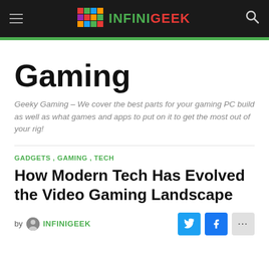INFINIGEEK
Gaming
Geeky Gaming – We cover the best parts for your gaming PC build as well as what games and apps to put on it to get the most out of your rig!
GADGETS, GAMING, TECH
How Modern Tech Has Evolved the Video Gaming Landscape
by INFINIGEEK